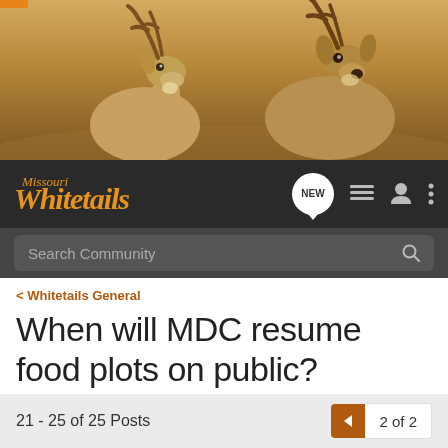[Figure (photo): Hero image of two whitetail deer bucks with antlers against a warm brown/tan natural background]
Missouri Whitetails — navigation bar with NEW, list, profile, and menu icons; Search Community search bar
< Whitetails General
When will MDC resume food plots on public?
→ Jump to Latest   ✚ Follow
21 - 25 of 25 Posts   ◄   2 of 2